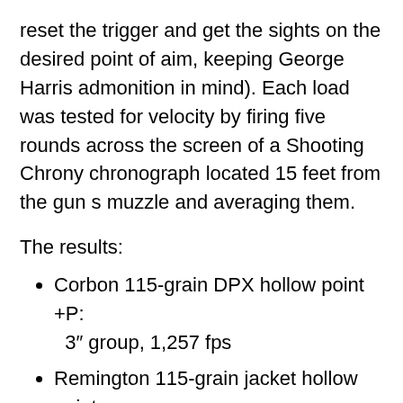reset the trigger and get the sights on the desired point of aim, keeping George Harris admonition in mind). Each load was tested for velocity by firing five rounds across the screen of a Shooting Chrony chronograph located 15 feet from the gun s muzzle and averaging them.
The results:
Corbon 115-grain DPX hollow point +P: 3″ group, 1,257 fps
Remington 115-grain jacket hollow point: 3.5″ group, 1,167 fps